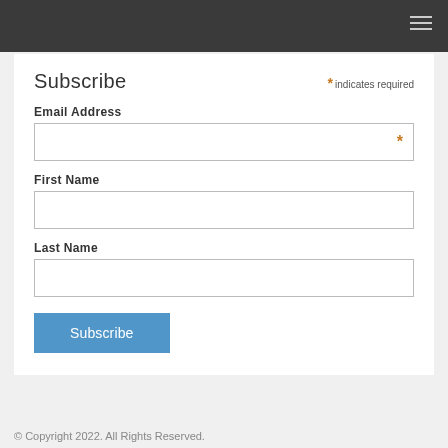Subscribe
* indicates required
Email Address
First Name
Last Name
Subscribe
© Copyright 2022. All Rights Reserved.